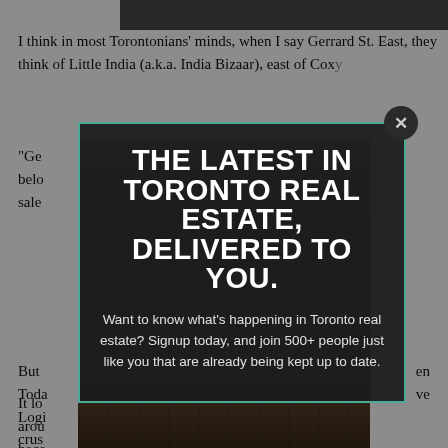[Figure (photo): Partial view of a building facade, dark background image behind modal]
I think in most Torontonians' minds, when I say Gerrard St. East, they think of Little India (a.k.a. India Bizaar), east of Coxy... "Ge... belo... sale...
[Figure (screenshot): Modal popup overlay with close button (x), headline text 'THE LATEST IN TORONTO REAL ESTATE, DELIVERED TO YOU.' and body text about signing up for Toronto real estate news.]
But... Toda... Login... crus... main... hop... tran... ove cent... new...
It lo... arou... beco...